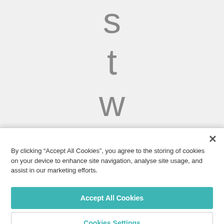[Figure (screenshot): Partial view of vertically stacked large letters spelling 'swan' (partially visible) in gray on a light gray background, showing letters s, t, w, a, n from top to bottom]
By clicking “Accept All Cookies”, you agree to the storing of cookies on your device to enhance site navigation, analyse site usage, and assist in our marketing efforts.
Accept All Cookies
Cookies Settings